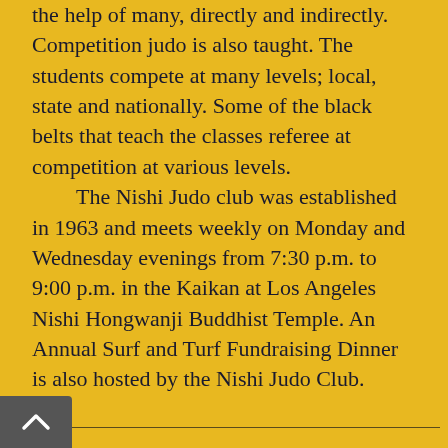the help of many, directly and indirectly. Competition judo is also taught. The students compete at many levels; local, state and nationally. Some of the black belts that teach the classes referee at competition at various levels.
The Nishi Judo club was established in 1963 and meets weekly on Monday and Wednesday evenings from 7:30 p.m. to 9:00 p.m. in the Kaikan at Los Angeles Nishi Hongwanji Buddhist Temple. An Annual Surf and Turf Fundraising Dinner is also hosted by the Nishi Judo Club.
Cultural Activities
The Temple sponsors Japanese cultural classes. These classes enable Temple members and nonmembers to learn about Japanese fine arts and sports. Classes that are currently being held are: